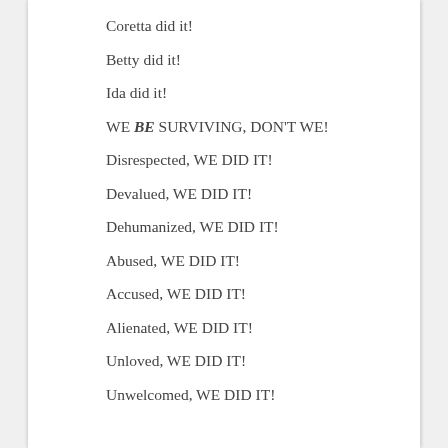Coretta did it!
Betty did it!
Ida did it!
WE BE SURVIVING, DON'T WE!
Disrespected, WE DID IT!
Devalued, WE DID IT!
Dehumanized, WE DID IT!
Abused, WE DID IT!
Accused, WE DID IT!
Alienated, WE DID IT!
Unloved, WE DID IT!
Unwelcomed, WE DID IT!